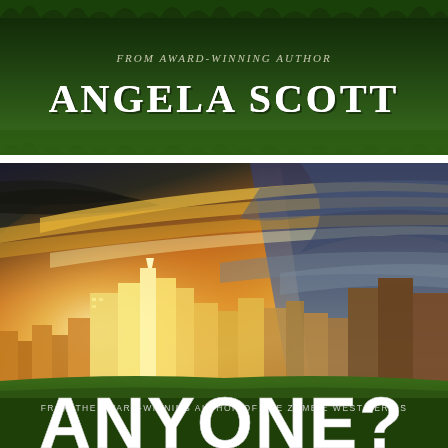[Figure (illustration): Top banner with dark green grassy background. Text reads 'FROM AWARD-WINNING AUTHOR' in small italic letters above 'ANGELA SCOTT' in large bold white serif capitals.]
[Figure (illustration): Book cover image for 'ANYONE?' by Angela Scott. Shows a dramatic post-apocalyptic cityscape with golden/orange dramatic sky with streaking clouds, a city skyline silhouetted against the glowing sky, green grass in the foreground. Text at bottom reads 'FROM THE AWARD-WINNING AUTHOR OF THE ZOMBIE WEST SERIES' and large white bold title 'ANYONE?' partially visible.]